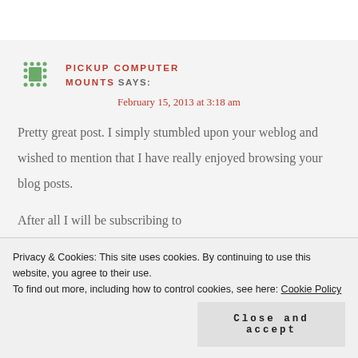PICKUP COMPUTER MOUNTS SAYS:
February 15, 2013 at 3:18 am
Pretty great post. I simply stumbled upon your weblog and wished to mention that I have really enjoyed browsing your blog posts.
After all I will be subscribing to
Privacy & Cookies: This site uses cookies. By continuing to use this website, you agree to their use.
To find out more, including how to control cookies, see here: Cookie Policy
Close and accept
REPLY